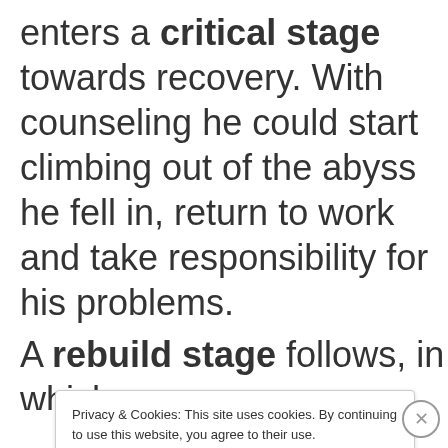enters a critical stage towards recovery. With counseling he could start climbing out of the abyss he fell in, return to work and take responsibility for his problems.
A rebuild stage follows, in which
Privacy & Cookies: This site uses cookies. By continuing to use this website, you agree to their use. To find out more, including how to control cookies, see here: Cookie Policy
Close and accept